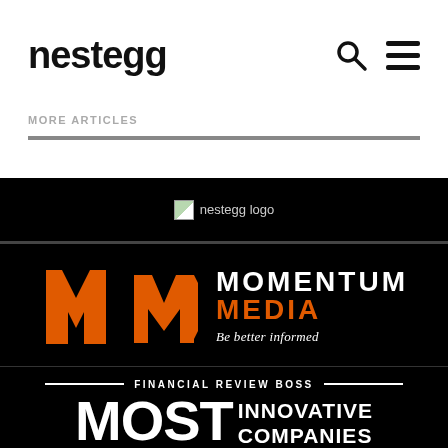nestegg
MORE ARTICLES
[Figure (logo): nestegg logo broken image placeholder with text 'nestegg logo']
[Figure (logo): Momentum Media logo with orange M icon, white text MOMENTUM and orange text MEDIA, tagline 'Be better informed']
[Figure (logo): Financial Review BOSS Most Innovative Companies logo in white on black background]